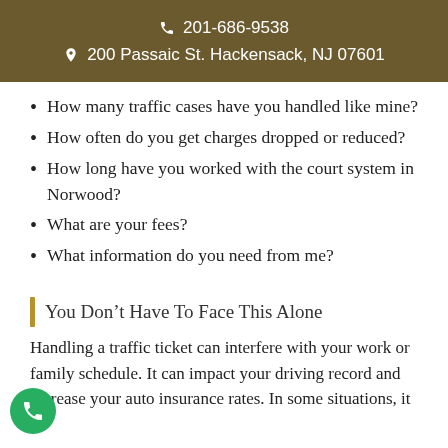201-686-9538 | 200 Passaic St. Hackensack, NJ 07601
How many traffic cases have you handled like mine?
How often do you get charges dropped or reduced?
How long have you worked with the court system in Norwood?
What are your fees?
What information do you need from me?
You Don’t Have To Face This Alone
Handling a traffic ticket can interfere with your work or family schedule. It can impact your driving record and increase your auto insurance rates. In some situations, it